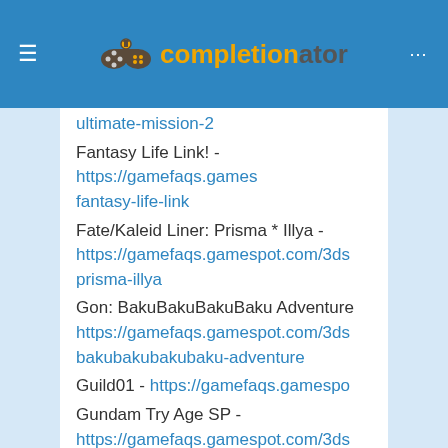completionator
ultimate-mission-2 (link truncated)
Fantasy Life Link! - https://gamefaqs.gamespot.com/3ds/fantasy-life-link
Fate/Kaleid Liner: Prisma * Illya - https://gamefaqs.gamespot.com/3ds/prisma-illya
Gon: BakuBakuBakuBaku Adventure - https://gamefaqs.gamespot.com/3ds/bakubakubakubaku-adventure
Guild01 - https://gamefaqs.gamespot.com/3ds/...
Gundam Try Age SP - https://gamefaqs.gamespot.com/3ds/...
Haikyu!! Tsunage! Itadaki no Keshiki! - https://gamefaqs.gamespot.com/3ds/itadaki-no-keshiki
Haikyu!! Cross Team Match! - https://gamefaqs.gamespot.com/3ds/match
I Legend Retsuden (partial)